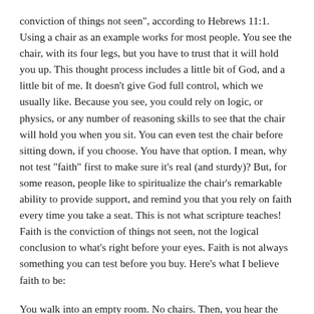conviction of things not seen", according to Hebrews 11:1. Using a chair as an example works for most people. You see the chair, with its four legs, but you have to trust that it will hold you up. This thought process includes a little bit of God, and a little bit of me. It doesn't give God full control, which we usually like. Because you see, you could rely on logic, or physics, or any number of reasoning skills to see that the chair will hold you when you sit. You can even test the chair before sitting down, if you choose. You have that option. I mean, why not test "faith" first to make sure it's real (and sturdy)? But, for some reason, people like to spiritualize the chair's remarkable ability to provide support, and remind you that you rely on faith every time you take a seat. This is not what scripture teaches! Faith is the conviction of things not seen, not the logical conclusion to what's right before your eyes. Faith is not always something you can test before you buy. Here's what I believe faith to be:
You walk into an empty room. No chairs. Then, you hear the still, small voice of the Lord asking you to sit down. You ask, “Where?” He points to an empty space and says, “Right here, in this chair.” This is faith. At this moment you have to believe in something you cannot see. You